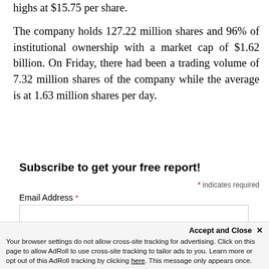highs at $15.75 per share. The company holds 127.22 million shares and 96% of institutional ownership with a market cap of $1.62 billion. On Friday, there had been a trading volume of 7.32 million shares of the company while the average is at 1.63 million shares per day.
Subscribe to get your free report!
* indicates required
Email Address *
Accept and Close ✕ Your browser settings do not allow cross-site tracking for advertising. Click on this page to allow AdRoll to use cross-site tracking to tailor ads to you. Learn more or opt out of this AdRoll tracking by clicking here. This message only appears once.